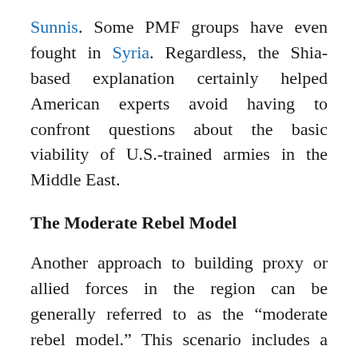Sunnis. Some PMF groups have even fought in Syria. Regardless, the Shia-based explanation certainly helped American experts avoid having to confront questions about the basic viability of U.S.-trained armies in the Middle East.
The Moderate Rebel Model
Another approach to building proxy or allied forces in the region can be generally referred to as the “moderate rebel model.” This scenario includes a variety of specific concepts, but broadly, it is characterized by the United States arming, training, and providing varying levels of direct special forces and aerial support to existing irregular fighting groups. Two of the most...